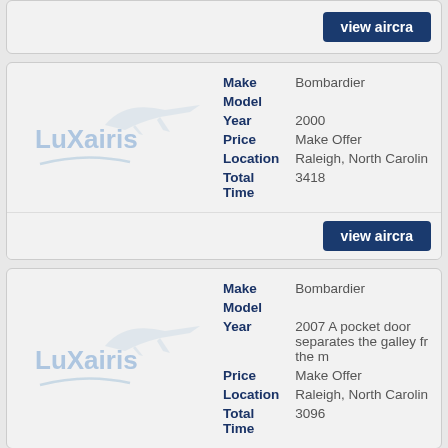| Make | Bombardier |
| Model |  |
| Year | 2000 |
| Price | Make Offer |
| Location | Raleigh, North Carolina |
| Total Time | 3418 |
| Make | Bombardier |
| Model |  |
| Year | 2007 A pocket door separates the galley fr the m |
| Price | Make Offer |
| Location | Raleigh, North Carolina |
| Total Time | 3096 |